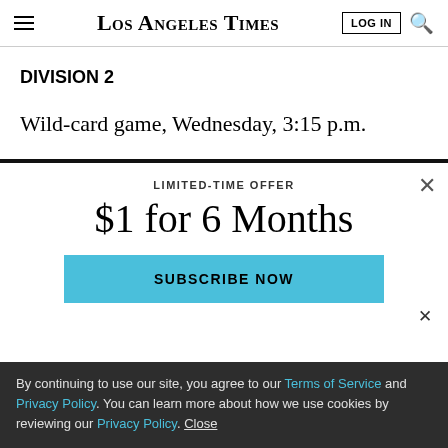Los Angeles Times
DIVISION 2
Wild-card game, Wednesday, 3:15 p.m.
LIMITED-TIME OFFER
$1 for 6 Months
SUBSCRIBE NOW
By continuing to use our site, you agree to our Terms of Service and Privacy Policy. You can learn more about how we use cookies by reviewing our Privacy Policy. Close